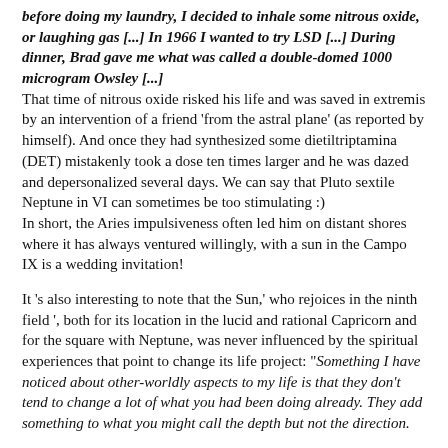before doing my laundry, I decided to inhale some nitrous oxide, or laughing gas [...] In 1966 I wanted to try LSD [...] During dinner, Brad gave me what was called a double-domed 1000 microgram Owsley [...]
That time of nitrous oxide risked his life and was saved in extremis by an intervention of a friend 'from the astral plane' (as reported by himself). And once they had synthesized some dietiltriptamina (DET) mistakenly took a dose ten times larger and he was dazed and depersonalized several days. We can say that Pluto sextile Neptune in VI can sometimes be too stimulating :)
In short, the Aries impulsiveness often led him on distant shores where it has always ventured willingly, with a sun in the Campo IX is a wedding invitation!
It 's also interesting to note that the Sun,' who rejoices in the ninth field ', both for its location in the lucid and rational Capricorn and for the square with Neptune, was never influenced by the spiritual experiences that point to change its life project: "Something I have noticed about other-worldly aspects to my life is that they don't tend to change a lot of what you had been doing already. They add something to what you might call the depth but not the direction.
The pronounced sexual charge (ASC Aries, Pluto in V) accounts